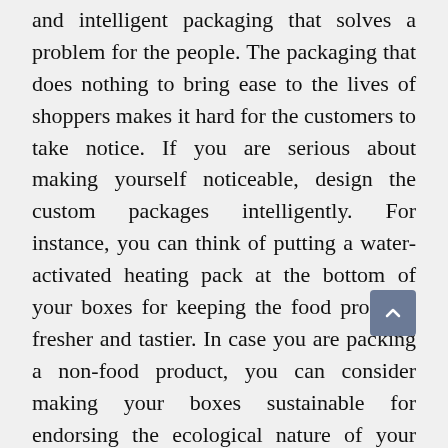and intelligent packaging that solves a problem for the people. The packaging that does nothing to bring ease to the lives of shoppers makes it hard for the customers to take notice. If you are serious about making yourself noticeable, design the custom packages intelligently. For instance, you can think of putting a water-activated heating pack at the bottom of your boxes for keeping the food products fresher and tastier. In case you are packing a non-food product, you can consider making your boxes sustainable for endorsing the ecological nature of your brand.
Provide Relevance to the Targets
The best way to get yourself promoted through custom packages is to design them in a way that the customers see them as relevant in their lives.